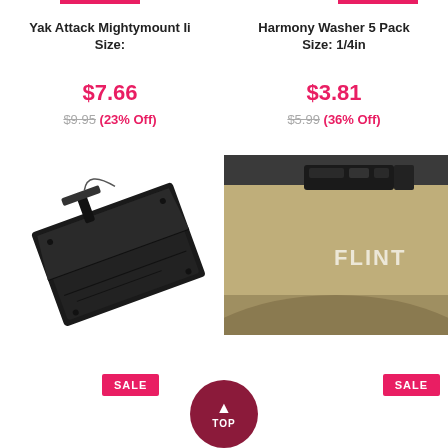Yak Attack Mightymount Ii Size:
$7.66
$9.95 (23% Off)
[Figure (photo): Black Yak Attack Mightymount II kayak accessory mount viewed from an angle]
SALE
Harmony Washer 5 Pack Size: 1/4in
$3.81
$5.99 (36% Off)
[Figure (photo): Tan/khaki kayak hull corner with black hardware and FLINT branding]
SALE
TOP